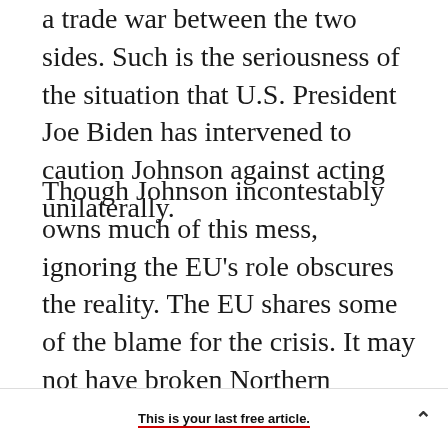a trade war between the two sides. Such is the seriousness of the situation that U.S. President Joe Biden has intervened to caution Johnson against acting unilaterally.
Though Johnson incontestably owns much of this mess, ignoring the EU's role obscures the reality. The EU shares some of the blame for the crisis. It may not have broken Northern Ireland, but it has bought shares in the place and will not be able to sell them. Northern Ireland is a permanent problem, one involving endless fixes, fudges, bargains, and compromises that will bedevil the
This is your last free article.